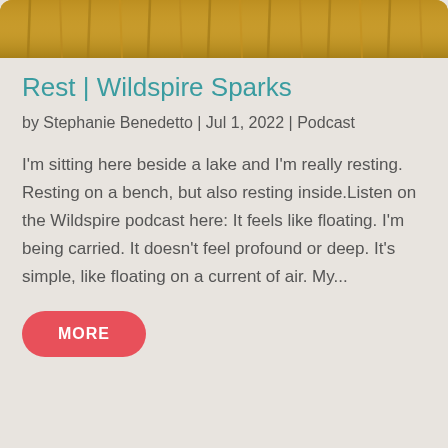[Figure (photo): Golden wheat or grain stalks close-up, warm golden tones, hero banner image at top of card]
Rest | Wildspire Sparks
by Stephanie Benedetto | Jul 1, 2022 | Podcast
I'm sitting here beside a lake and I'm really resting. Resting on a bench, but also resting inside.Listen on the Wildspire podcast here: It feels like floating. I'm being carried. It doesn't feel profound or deep. It's simple, like floating on a current of air. My...
MORE